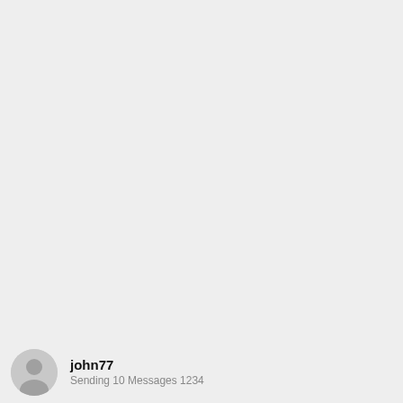[Figure (photo): Mostly blank light gray page with a user profile row at the bottom. The profile row shows a circular gray avatar icon on the left and the username 'john77' in bold with a subtitle line below it.]